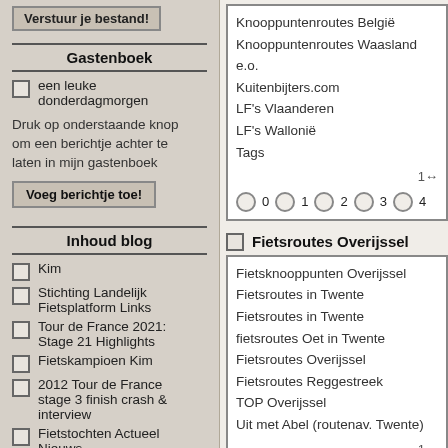Verstuur je bestand!
Gastenboek
een leuke donderdagmorgen
Druk op onderstaande knop om een berichtje achter te laten in mijn gastenboek
Voeg berichtje toe!
Inhoud blog
Kim
Stichting Landelijk Fietsplatform Links
Tour de France 2021: Stage 21 Highlights
Fietskampioen Kim
2012 Tour de France stage 3 finish crash & interview
Fietstochten Actueel Nieuws
Fietsen voor een goed doel
Fietsroutes Azië
Fietsroutes Zuid Amerika
Fietsroutes Noord
Knooppuntenroutes België
Knooppuntenroutes Waasland e.o.
Kuitenbijters.com
LF's Vlaanderen
LF's Wallonië
Tags
18
0 1 2 3 4
Fietsroutes Overijssel
Fietsknooppunten Overijssel
Fietsroutes in Twente
Fietsroutes in Twente
fietsroutes Oet in Twente
Fietsroutes Overijssel
Fietsroutes Reggestreek
TOP Overijssel
Uit met Abel (routenav. Twente)
18
0 1 2 3 4
Categorie